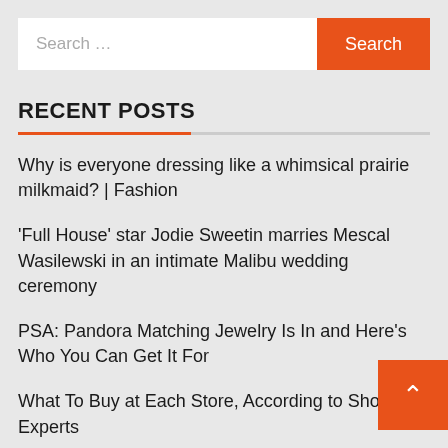[Figure (screenshot): Search bar with text input field showing placeholder 'Search ...' and an orange 'Search' button on the right]
RECENT POSTS
Why is everyone dressing like a whimsical prairie milkmaid? | Fashion
'Full House' star Jodie Sweetin marries Mescal Wasilewski in an intimate Malibu wedding ceremony
PSA: Pandora Matching Jewelry Is In and Here's Who You Can Get It For
What To Buy at Each Store, According to Shopping Experts
Anti-aging creams and how the skin care industry